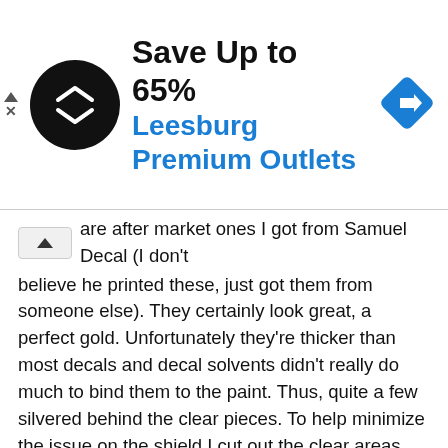[Figure (infographic): Advertisement banner: black circle logo with double arrow, 'Save Up to 65%' in bold black, 'Leesburg Premium Outlets' in blue, blue diamond navigation icon on right, ad indicator triangle and X on left]
are after market ones I got from Samuel Decal (I don't believe he printed these, just got them from someone else). They certainly look great, a perfect gold. Unfortunately they're thicker than most decals and decal solvents didn't really do much to bind them to the paint. Thus, quite a few silvered behind the clear pieces. To help minimize the issue on the shield I cut out the clear areas around the "02" to a fair bit of success. Still managed to miss an area or two though.

An important thing to note, if you haven't heard me say this before, is that parts of the PG Unicorn frame are very very tight. Normally not a problem, but hot damn does it suck when you've painted every nook and cranny. It's the one kit that I know I need to pull out a hammer for (pro-tip, don't actually hit the kit with the hammer directly, use cloth or some other non-abrasive padding to deaden the blow a bit). As smooth and sexy as the purple frame looks, the Mr. Crystal Colour coating is rather sandpaper like. Things are tighter on